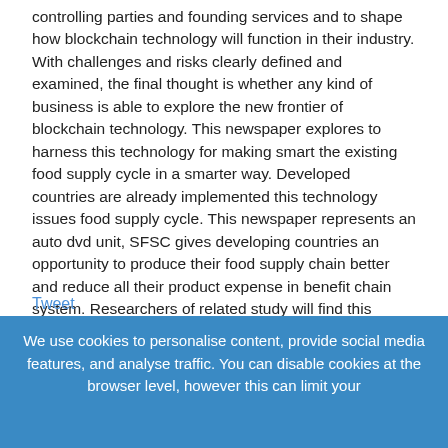controlling parties and founding services and to shape how blockchain technology will function in their industry. With challenges and risks clearly defined and examined, the final thought is whether any kind of business is able to explore the new frontier of blockchain technology. This newspaper explores to harness this technology for making smart the existing food supply cycle in a smarter way. Developed countries are already implemented this technology issues food supply cycle. This newspaper represents an auto dvd unit, SFSC gives developing countries an opportunity to produce their food supply chain better and reduce all their product expense in benefit chain system. Researchers of related study will find this research beneficial and this study can be a foundation for further research on Clever Food Supply Sequence based on Prevent chain.
Tweet
We use cookies to personalise content, provide social media features, and analyse traffic. You can disable cookies at the browser level, however this can limit your